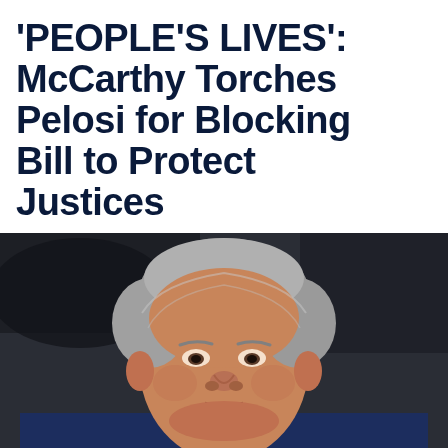'PEOPLE'S LIVES': McCarthy Torches Pelosi for Blocking Bill to Protect Justices
[Figure (photo): Close-up photograph of Kevin McCarthy, a middle-aged man with gray hair, wearing a dark navy blue suit and light pink tie, speaking at a podium or press conference with a dark blurred background.]